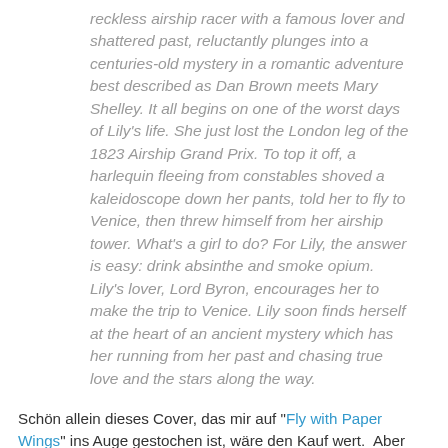reckless airship racer with a famous lover and shattered past, reluctantly plunges into a centuries-old mystery in a romantic adventure best described as Dan Brown meets Mary Shelley. It all begins on one of the worst days of Lily's life. She just lost the London leg of the 1823 Airship Grand Prix. To top it off, a harlequin fleeing from constables shoved a kaleidoscope down her pants, told her to fly to Venice, then threw himself from her airship tower. What's a girl to do? For Lily, the answer is easy: drink absinthe and smoke opium. Lily's lover, Lord Byron, encourages her to make the trip to Venice. Lily soon finds herself at the heart of an ancient mystery which has her running from her past and chasing true love and the stars along the way.
Schön allein dieses Cover, das mir auf "Fly with Paper Wings" ins Auge gestochen ist, wäre den Kauf wert. Aber dann auch noch der Klappentext und die äußerst guten Bewertungen... Da kann ich mein Geld ohne schlechtes Gewissen anlegen.